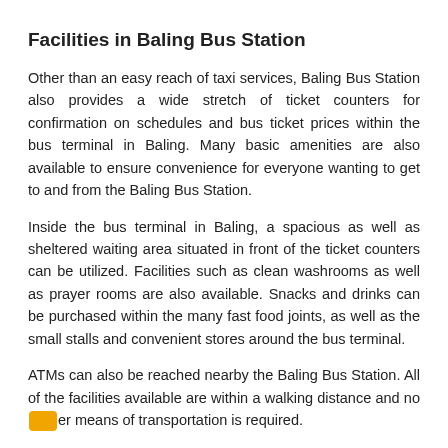Facilities in Baling Bus Station
Other than an easy reach of taxi services, Baling Bus Station also provides a wide stretch of ticket counters for confirmation on schedules and bus ticket prices within the bus terminal in Baling. Many basic amenities are also available to ensure convenience for everyone wanting to get to and from the Baling Bus Station.
Inside the bus terminal in Baling, a spacious as well as sheltered waiting area situated in front of the ticket counters can be utilized. Facilities such as clean washrooms as well as prayer rooms are also available. Snacks and drinks can be purchased within the many fast food joints, as well as the small stalls and convenient stores around the bus terminal.
ATMs can also be reached nearby the Baling Bus Station. All of the facilities available are within a walking distance and no [other] means of transportation is required.
Top Features: